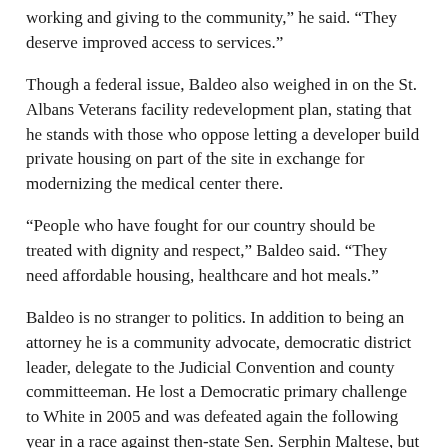working and giving to the community,” he said. “They deserve improved access to services.”
Though a federal issue, Baldeo also weighed in on the St. Albans Veterans facility redevelopment plan, stating that he stands with those who oppose letting a developer build private housing on part of the site in exchange for modernizing the medical center there.
“People who have fought for our country should be treated with dignity and respect,” Baldeo said. “They need affordable housing, healthcare and hot meals.”
Baldeo is no stranger to politics. In addition to being an attorney he is a community advocate, democratic district leader, delegate to the Judicial Convention and county committeeman. He lost a Democratic primary challenge to White in 2005 and was defeated again the following year in a race against then-state Sen. Serphin Maltese, but he is confident that he will be victorious this time around.
“I am a breath of fresh air, because my candidacy is not controlled by special interests and lobbyists, but by a passion to serve our